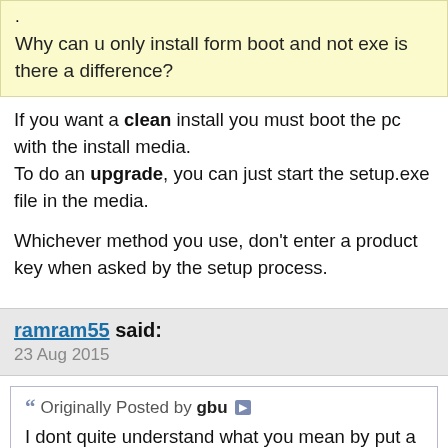.
Why can u only install form boot and not exe is there a difference?
If you want a clean install you must boot the pc with the install media.
To do an upgrade, you can just start the setup.exe file in the media.

Whichever method you use, don't enter a product key when asked by the setup process.
ramram55 said:
23 Aug 2015
Originally Posted by gbu
I dont quite understand what you mean by put a blank HDD in as i dont have any blank hard drives.

I burned another DVD to try but same thing happens.

There is content on the disc though and starts to install if i